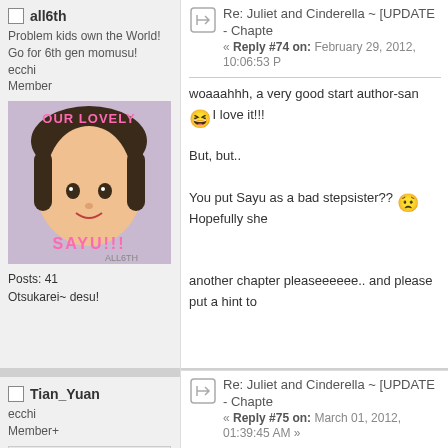all6th
Problem kids own the World! Go for 6th gen momusu!
ecchi
Member
[Figure (photo): Avatar image with text 'OUR LOVELY SAYU!!!' and a girl's photo]
Posts: 41
Otsukarei~ desu!
Re: Juliet and Cinderella ~ [UPDATE - Chapter « Reply #74 on: February 29, 2012, 10:06:53 PM
woaaahhh, a very good start author-san 😆 I love it!!!
But, but..
You put Sayu as a bad stepsister?? 😟 Hopefully she
another chapter pleaseeeeee.. and please put a hint to
Tian_Yuan
ecchi
Member+
[Figure (photo): Broken/missing avatar image]
Re: Juliet and Cinderella ~ [UPDATE - Chapte « Reply #75 on: March 01, 2012, 01:39:45 AM »
love the 10th gen cameo! What an awesome first chapt and rewatching the trailers.. but I am not sure 😄
I am curious about Reina since she wasn't in the first ch Aika yet.. let's see if you can win me over! thanks!